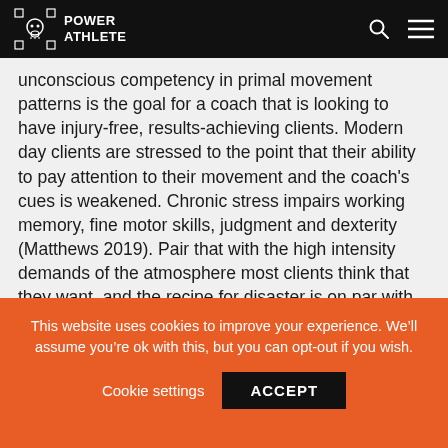Power Athlete
unconscious competency in primal movement patterns is the goal for a coach that is looking to have injury-free, results-achieving clients. Modern day clients are stressed to the point that their ability to pay attention to their movement and the coach's cues is weakened. Chronic stress impairs working memory, fine motor skills, judgment and dexterity (Matthews 2019). Pair that with the high intensity demands of the atmosphere most clients think that they want, and the recipe for disaster is on par with going to a minefield and executing double-time high-knees a la “Maniac” from Flashdance.
This website uses cookies to improve your experience. We’ll assume you’re ok with this, but you can opt-out if you wish.
Cookie settings  ACCEPT